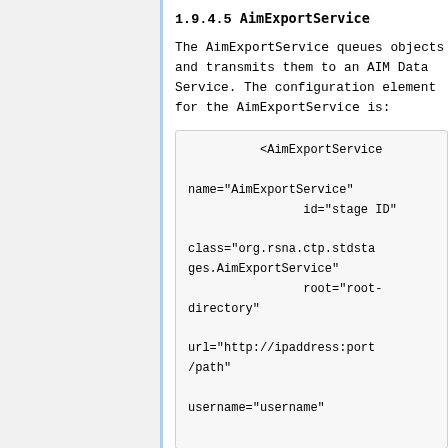1.9.4.5 AimExportService
The AimExportService queues objects and transmits them to an AIM Data Service. The configuration element for the AimExportService is:
<AimExportService

name="AimExportService"
                id="stage ID"

class="org.rsna.ctp.stdstages.AimExportService"
                root="root-directory"

url="http://ipaddress:port/path"

username="username"

password="password"